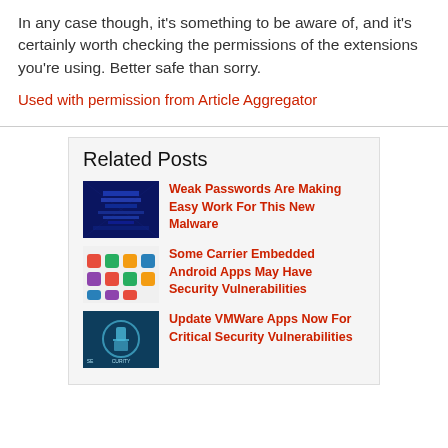In any case though, it's something to be aware of, and it's certainly worth checking the permissions of the extensions you're using.  Better safe than sorry.
Used with permission from Article Aggregator
Related Posts
Weak Passwords Are Making Easy Work For This New Malware
Some Carrier Embedded Android Apps May Have Security Vulnerabilities
Update VMWare Apps Now For Critical Security Vulnerabilities